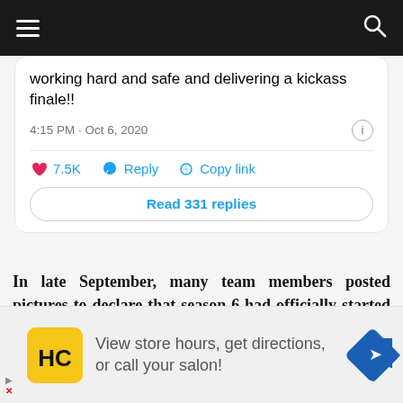[Figure (screenshot): Website navigation bar with hamburger menu on left and search icon on right, dark/black background]
working hard and safe and delivering a kickass finale!!
4:15 PM · Oct 6, 2020
7.5K   Reply   Copy link
Read 331 replies
In late September, many team members posted pictures to declare that season 6 had officially started production.
[Figure (infographic): Advertisement banner: HC logo (yellow square with HC text), text 'View store hours, get directions, or call your salon!', blue diamond navigation icon on right]